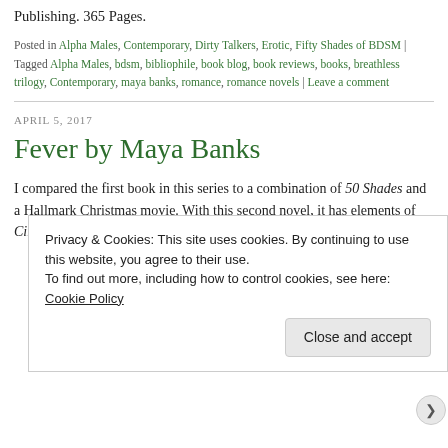Publishing. 365 Pages.
Posted in Alpha Males, Contemporary, Dirty Talkers, Erotic, Fifty Shades of BDSM | Tagged Alpha Males, bdsm, bibliophile, book blog, book reviews, books, breathless trilogy, Contemporary, maya banks, romance, romance novels | Leave a comment
APRIL 5, 2017
Fever by Maya Banks
I compared the first book in this series to a combination of 50 Shades and a Hallmark Christmas movie. With this second novel, it has elements of Cinderella, but instead of a fairy godmother
Privacy & Cookies: This site uses cookies. By continuing to use this website, you agree to their use.
To find out more, including how to control cookies, see here: Cookie Policy
Close and accept